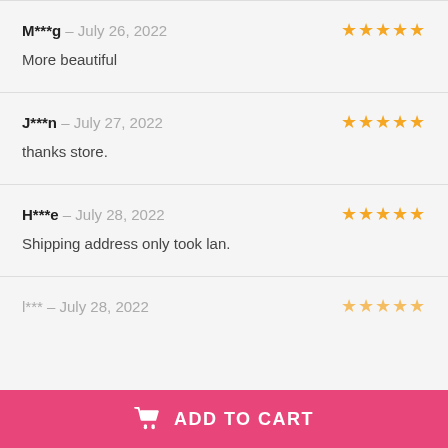M***g – July 26, 2022 ★★★★★
More beautiful
J***n – July 27, 2022 ★★★★★
thanks store.
H***e – July 28, 2022 ★★★★★
Shipping address only took lan.
l*** – July 28, 2022 ★★★★★